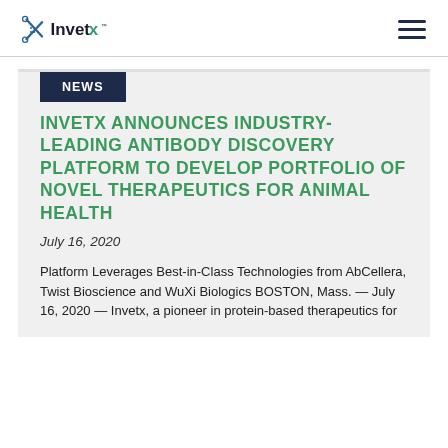Invetx
NEWS
INVETX ANNOUNCES INDUSTRY-LEADING ANTIBODY DISCOVERY PLATFORM TO DEVELOP PORTFOLIO OF NOVEL THERAPEUTICS FOR ANIMAL HEALTH
July 16, 2020
Platform Leverages Best-in-Class Technologies from AbCellera, Twist Bioscience and WuXi Biologics BOSTON, Mass. — July 16, 2020 — Invetx, a pioneer in protein-based therapeutics for